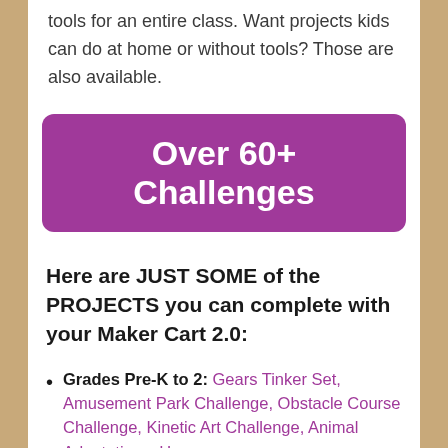tools for an entire class. Want projects kids can do at home or without tools? Those are also available.
Over 60+ Challenges
Here are JUST SOME of the PROJECTS you can complete with your Maker Cart 2.0:
Grades Pre-K to 2: Gears Tinker Set, Amusement Park Challenge, Obstacle Course Challenge, Kinetic Art Challenge, Animal Adaptations, How...